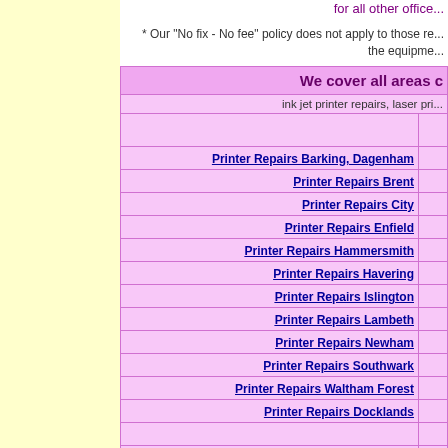for all other office...
* Our "No fix - No fee" policy does not apply to those re... the equipme...
| We cover all areas c... |  |
| --- | --- |
| ink jet printer repairs,  laser pri... |  |
|  |  |
| Printer Repairs Barking, Dagenham |  |
| Printer Repairs Brent |  |
| Printer Repairs City |  |
| Printer Repairs Enfield |  |
| Printer Repairs Hammersmith |  |
| Printer Repairs Havering |  |
| Printer Repairs Islington |  |
| Printer Repairs Lambeth |  |
| Printer Repairs Newham |  |
| Printer Repairs Southwark |  |
| Printer Repairs Waltham Forest |  |
| Printer Repairs Docklands |  |
|  |  |
|  |  |
Ho...
UK P...